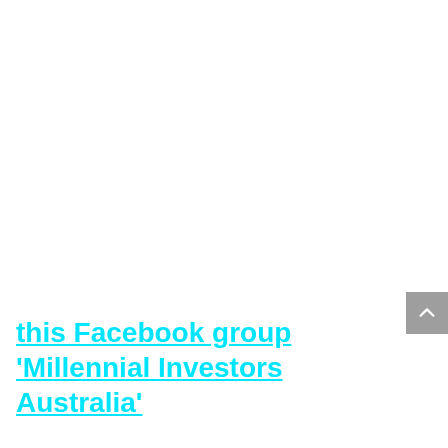this Facebook group 'Millennial Investors Australia'